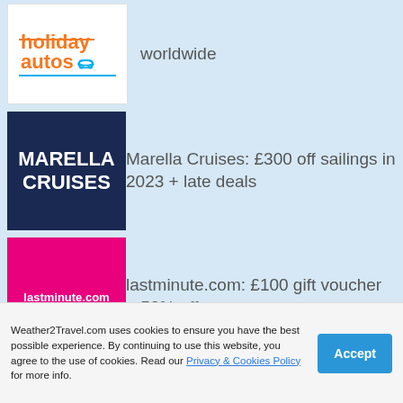[Figure (logo): Holiday Autos logo — orange text 'holiday autos' with car icon on white background]
worldwide
[Figure (logo): Marella Cruises logo — white bold text on dark navy background]
Marella Cruises: £300 off sailings in 2023 + late deals
[Figure (logo): lastminute.com logo — white bold text on bright pink/magenta background]
lastminute.com: £100 gift voucher + 50% off
[Figure (logo): Saga logo — dark navy bold text on teal/sage green background]
Saga Holidays sale: up to £350pp off holidays
[Figure (logo): Partial purple/magenta logo box at bottom, cut off]
Weather2Travel.com uses cookies to ensure you have the best possible experience. By continuing to use this website, you agree to the use of cookies. Read our Privacy & Cookies Policy for more info.